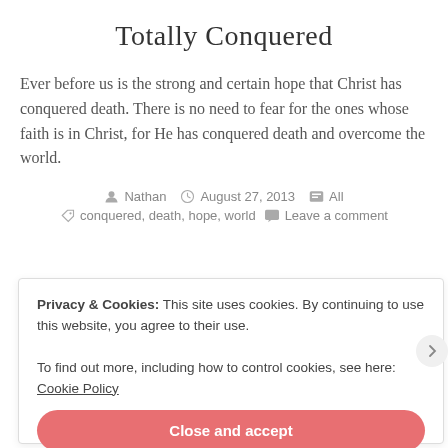Totally Conquered
Ever before us is the strong and certain hope that Christ has conquered death. There is no need to fear for the ones whose faith is in Christ, for He has conquered death and overcome the world.
Nathan  August 27, 2013  All  conquered, death, hope, world  Leave a comment
Privacy & Cookies: This site uses cookies. By continuing to use this website, you agree to their use.
To find out more, including how to control cookies, see here: Cookie Policy
Close and accept